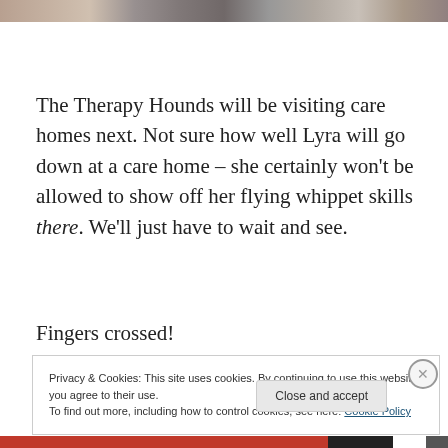[Figure (photo): Partial photo strip at top of page showing dogs/animals, cropped]
The Therapy Hounds will be visiting care homes next. Not sure how well Lyra will go down at a care home – she certainly won't be allowed to show off her flying whippet skills there. We'll just have to wait and see.
Fingers crossed!
Privacy & Cookies: This site uses cookies. By continuing to use this website, you agree to their use.
To find out more, including how to control cookies, see here: Cookie Policy
Close and accept